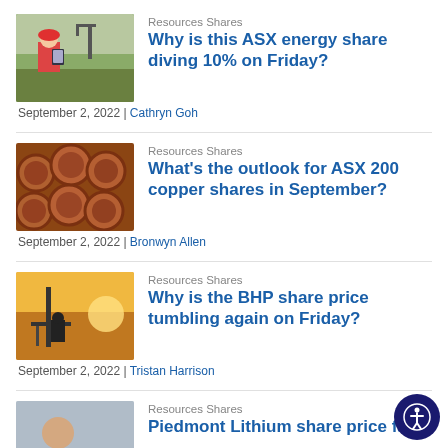[Figure (photo): Worker in red hard hat with tablet near oil pump jack]
Resources Shares
Why is this ASX energy share diving 10% on Friday?
September 2, 2022 | Cathryn Goh
[Figure (photo): Stacked copper pipes/tubes viewed end-on]
Resources Shares
What's the outlook for ASX 200 copper shares in September?
September 2, 2022 | Bronwyn Allen
[Figure (photo): Worker on industrial equipment at sunset]
Resources Shares
Why is the BHP share price tumbling again on Friday?
September 2, 2022 | Tristan Harrison
[Figure (photo): Man in suit, partial view, fourth article]
Resources Shares
Piedmont Lithium share price falls